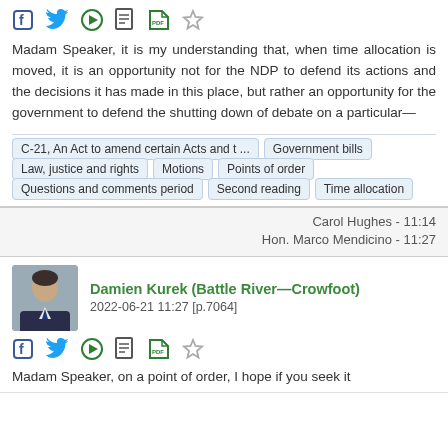[Figure (other): Social sharing icons: Facebook, Twitter, Play, Bookmark, PDF link, Star]
Madam Speaker, it is my understanding that, when time allocation is moved, it is an opportunity not for the NDP to defend its actions and the decisions it has made in this place, but rather an opportunity for the government to defend the shutting down of debate on a particular—
C-21, An Act to amend certain Acts and t ...
Government bills
Law, justice and rights
Motions
Points of order
Questions and comments period
Second reading
Time allocation
Carol Hughes - 11:14
Hon. Marco Mendicino - 11:27
[Figure (photo): Portrait photo of Damien Kurek in suit and tie]
Damien Kurek (Battle River—Crowfoot)
2022-06-21 11:27 [p.7064]
[Figure (other): Social sharing icons: Facebook, Twitter, Play, Bookmark, PDF link, Star]
Madam Speaker, on a point of order, I hope if you seek it